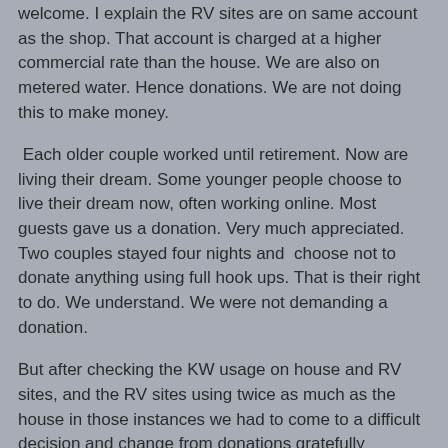welcome.  I explain the RV sites are on same account as the shop.  That account is charged at a higher commercial rate than the house.   We are also on metered water.  Hence donations.   We are not doing this to make money.
Each older couple worked until retirement. Now are living their dream.  Some younger people choose to live their dream now, often working online.   Most guests gave us a donation.  Very much appreciated.   Two couples stayed four nights and  choose not to donate anything using full hook ups.  That is their right to do.   We understand.  We were not demanding a donation.
But after checking the KW usage on house and RV sites, and the RV sites using twice as much as the house in those instances we had to come to a difficult decision and change from donations gratefully accepted to a small per night charge.   Hated to do this.
We still look forward to hosting.   But not going broke.
Until next time.